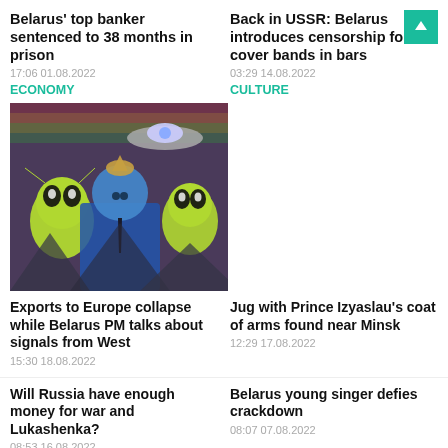Belarus' top banker sentenced to 38 months in prison
17:06 01.08.2022
ECONOMY
Back in USSR: Belarus introduces censorship for cover bands in bars
03:29 14.08.2022
CULTURE
[Figure (photo): Surreal photomontage of a man in a suit with alien figures and a UFO background]
Exports to Europe collapse while Belarus PM talks about signals from West
15:30 18.08.2022
Jug with Prince Izyaslau's coat of arms found near Minsk
12:29 17.08.2022
Will Russia have enough money for war and Lukashenka?
08:53 16.08.2022
Belarus young singer defies crackdown
08:07 07.08.2022